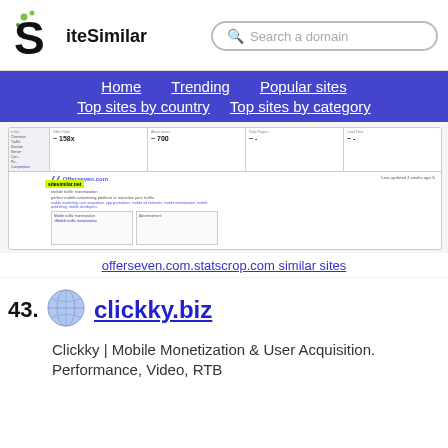[Figure (logo): SiteSimilar logo with stylized S and green dots]
Search a domain
Home  Trending  Popular sites  Top sites by country  Top sites by category
[Figure (screenshot): Screenshot of offerseven.com on statscrop.com showing stats rank 158x, Alexa status 700, with sitesimilar.net badge overlay]
offerseven.com.statscrop.com similar sites
43. clickky.biz
Clickky | Mobile Monetization & User Acquisition. Performance, Video, RTB